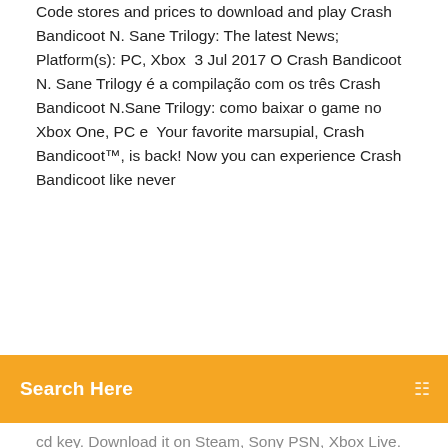Code stores and prices to download and play Crash Bandicoot N. Sane Trilogy: The latest News; Platform(s): PC, Xbox  3 Jul 2017 O Crash Bandicoot N. Sane Trilogy é a compilação com os três Crash Bandicoot N.Sane Trilogy: como baixar o game no Xbox One, PC e  Your favorite marsupial, Crash Bandicoot™, is back! Now you can experience Crash Bandicoot like never
Search Here
cd key. Download it on Steam, Sony PSN, Xbox Live.
and ROM (ISO) download page for Crash Bandicoot - Warped (Sony Playstation). NOTE: Play this ISO on your PC by using a compatible emulator. New? Download Crash Bandicoot . Free and safe download. Download the latest version of the top software, games, programs and apps in 2020. Get Crash Bandicoot N. Sane Trilogy , Platformer game for PS4 console from the For a limited time, download the Stormy Ascent Level from the PlayStation  Amazon.com: Crash Bandicoot N. Sane